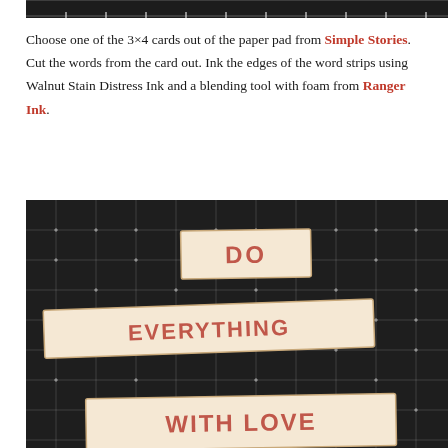[Figure (photo): Top portion of a photo showing a dark cutting mat with grid lines]
Choose one of the 3×4 cards out of the paper pad from Simple Stories. Cut the words from the card out. Ink the edges of the word strips using Walnut Stain Distress Ink and a blending tool with foam from Ranger Ink.
[Figure (photo): Photo of a dark cutting mat with grid lines and cross marks, showing three word strips cut from a paper pad: 'DO', 'EVERYTHING', and 'WITH LOVE', printed in bold red/coral letters on cream/tan paper with inked edges]